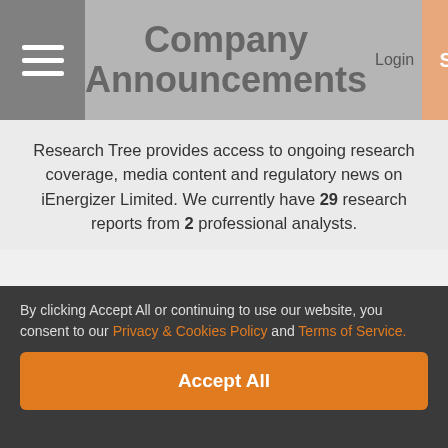Company Announcements | Login | Sign Up
Research Tree provides access to ongoing research coverage, media content and regulatory news on iEnergizer Limited. We currently have 29 research reports from 2 professional analysts.
[Figure (continuous-plot): Stock price chart for iEnergizer Limited showing 1 year view. Y-axis shows values around 500–600. Orange candlestick/bar chart visible near right side showing price around 500.]
By clicking Accept All or continuing to use our website, you consent to our Privacy & Cookies Policy and Terms of Service.